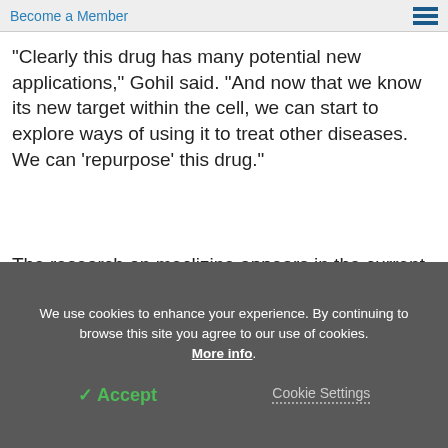Become a Member
"Clearly this drug has many potential new applications," Gohil said. "And now that we know its new target within the cell, we can start to explore ways of using it to treat other diseases. We can 'repurpose' this drug."
The research on meclizine appears in the current online version of the Journal of Biological Chemistry.
We use cookies to enhance your experience. By continuing to browse this site you agree to our use of cookies. More info.